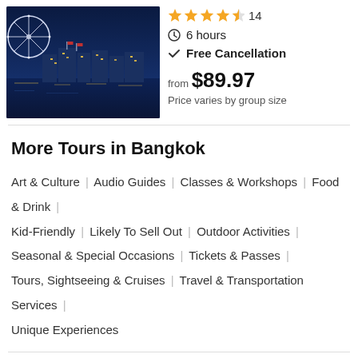[Figure (photo): Night photo of a Ferris wheel and illuminated waterfront buildings reflected in water, Bangkok]
★★★★½ 14
🕐 6 hours
✓ Free Cancellation
from $89.97
Price varies by group size
More Tours in Bangkok
Art & Culture | Audio Guides | Classes & Workshops | Food & Drink | Kid-Friendly | Likely To Sell Out | Outdoor Activities | Seasonal & Special Occasions | Tickets & Passes | Tours, Sightseeing & Cruises | Travel & Transportation Services | Unique Experiences
Recommended for Bangkok
Things to Do in Bangkok This Fall |